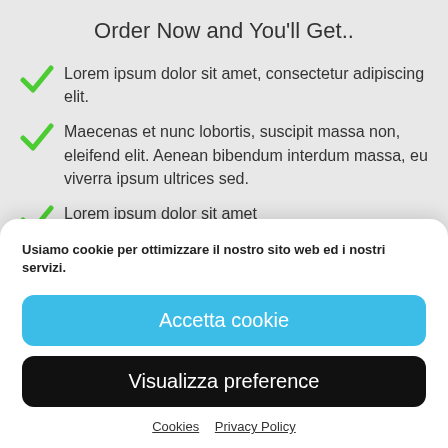Order Now and You'll Get..
Lorem ipsum dolor sit amet, consectetur adipiscing elit.
Maecenas et nunc lobortis, suscipit massa non, eleifend elit. Aenean bibendum interdum massa, eu viverra ipsum ultrices sed.
Lorem ipsum dolor sit amet
Usiamo cookie per ottimizzare il nostro sito web ed i nostri servizi.
Accetta cookie
Visualizza preference
Cookies  Privacy Policy